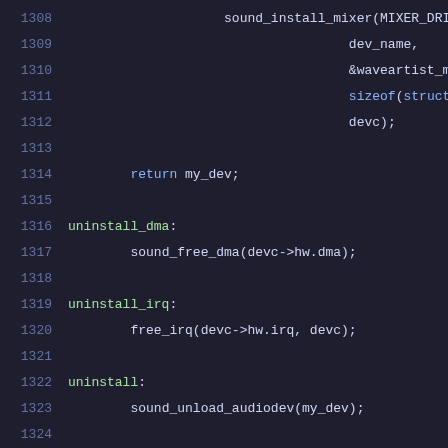Source code listing lines 1308-1328 showing C code with sound driver functions including sound_install_mixer, return my_dev, uninstall_dma, uninstall_irq, uninstall, free, and nomem labels.